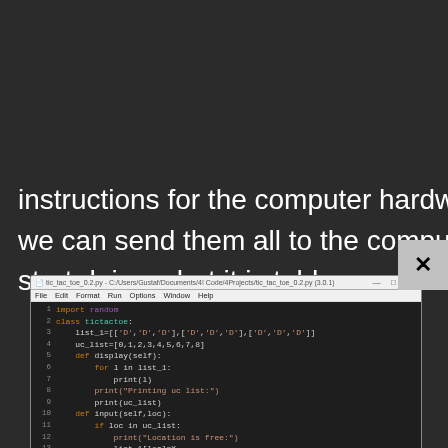instructions for the computer hardware. When we're ready, we can send them all to the computer, and the computer will start doing what it is told.
[Figure (screenshot): Python IDLE editor window showing tic_tac_toe_0.2.py source code with syntax highlighting. Lines 1-17 visible with import random, class tictactoe, list initialization, display and input methods.]